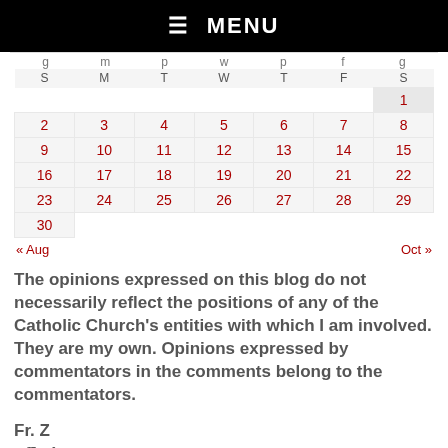☰ MENU
| S | M | T | W | T | F | S |
| --- | --- | --- | --- | --- | --- | --- |
|  |  |  |  |  |  | 1 |
| 2 | 3 | 4 | 5 | 6 | 7 | 8 |
| 9 | 10 | 11 | 12 | 13 | 14 | 15 |
| 16 | 17 | 18 | 19 | 20 | 21 | 22 |
| 23 | 24 | 25 | 26 | 27 | 28 | 29 |
| 30 |  |  |  |  |  |  |
« Aug    Oct »
The opinions expressed on this blog do not necessarily reflect the positions of any of the Catholic Church's entities with which I am involved. They are my own. Opinions expressed by commentators in the comments belong to the commentators.
Fr. Z
o{]:-)